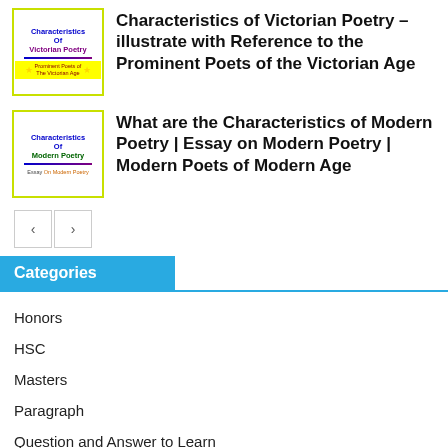[Figure (illustration): Thumbnail image for 'Characteristics of Victorian Poetry' article with yellow-green border, blue title text, and yellow bottom section with stars]
Characteristics of Victorian Poetry – illustrate with Reference to the Prominent Poets of the Victorian Age
[Figure (illustration): Thumbnail image for 'Characteristics of Modern Poetry' article with yellow-green border, green title text, and white bottom section with essay subtitle]
What are the Characteristics of Modern Poetry | Essay on Modern Poetry | Modern Poets of Modern Age
< >
Categories
Honors
HSC
Masters
Paragraph
Question and Answer to Learn